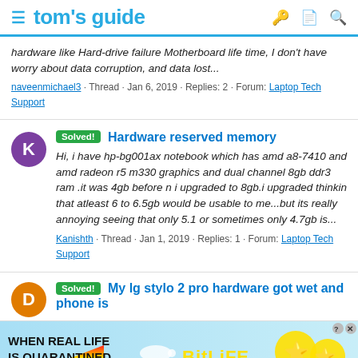tom's guide
hardware like Hard-drive failure Motherboard life time, I don't have worry about data corruption, and data lost...
naveenmichael3 · Thread · Jan 6, 2019 · Replies: 2 · Forum: Laptop Tech Support
Hardware reserved memory
Hi, i have hp-bg001ax notebook which has amd a8-7410 and amd radeon r5 m330 graphics and dual channel 8gb ddr3 ram .it was 4gb before n i upgraded to 8gb.i upgraded thinkin that atleast 6 to 6.5gb would be usable to me...but its really annoying seeing that only 5.1 or sometimes only 4.7gb is...
Kanishth · Thread · Jan 1, 2019 · Replies: 1 · Forum: Laptop Tech Support
My lg stylo 2 pro hardware got wet and phone is
[Figure (screenshot): BitLife advertisement banner with rainbow graphic and emojis]